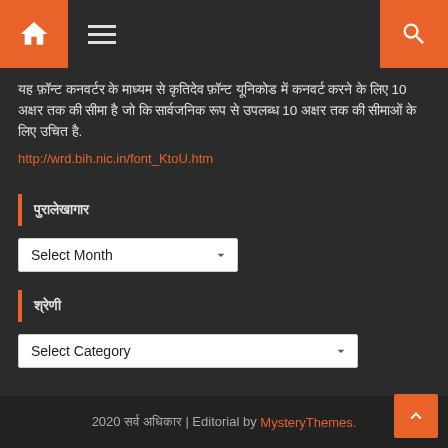Navigation bar with home icon, hamburger menu, and search icon
यह फ़ॉन्ट कनवर्टर के माध्यम से कृतिदेव फ़ॉन्ट यूनिकोड में कनवर्ट करने के लिए 10 अक्षर तक की सीमा है जो कि सार्वजनिक रूप से उपलब्ध 10 अक्षर तक की सीमाओं के लिए उचित है.
http://wrd.bih.nic.in/font_KtoU.htm
पुरालेखागार
Select Month
श्रेणी
Select Category
2020 सर्व अधिकार | Editorial by MysteryThemes.